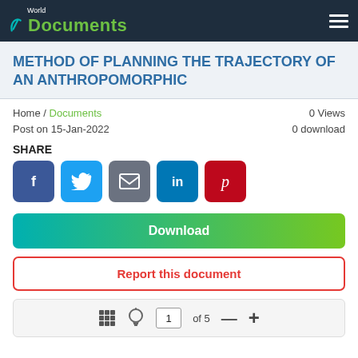World Documents
METHOD OF PLANNING THE TRAJECTORY OF AN ANTHROPOMORPHIC
Home / Documents   0 Views   Post on 15-Jan-2022   0 download
SHARE
[Figure (other): Social share buttons: Facebook, Twitter, Email, LinkedIn, Pinterest]
Download
Report this document
1 of 5